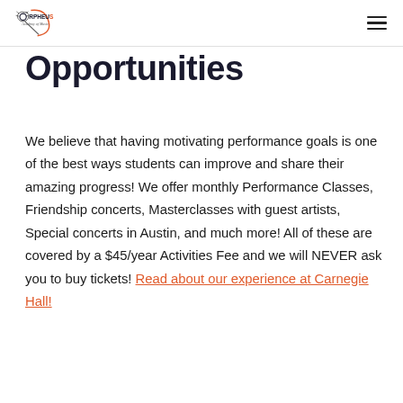Orpheus Academy of Music
Opportunities
We believe that having motivating performance goals is one of the best ways students can improve and share their amazing progress! We offer monthly Performance Classes, Friendship concerts, Masterclasses with guest artists, Special concerts in Austin, and much more! All of these are covered by a $45/year Activities Fee and we will NEVER ask you to buy tickets! Read about our experience at Carnegie Hall!